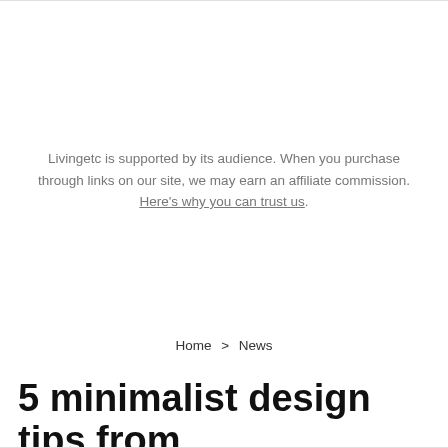Livingetc is supported by its audience. When you purchase through links on our site, we may earn an affiliate commission. Here's why you can trust us.
Home > News
5 minimalist design tips from